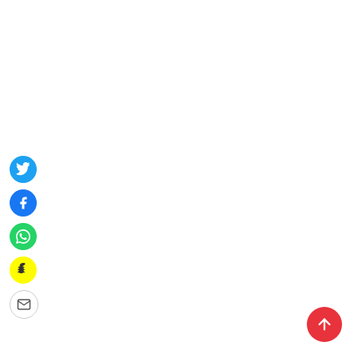[Figure (infographic): Social media sharing sidebar with Twitter, Facebook, WhatsApp, Snapchat, and Email share buttons arranged vertically on the left side of the page. A red scroll-to-top button with an upward arrow is in the bottom-right corner.]